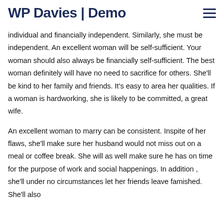WP Davies | Demo
individual and financially independent. Similarly, she must be independent. An excellent woman will be self-sufficient. Your woman should also always be financially self-sufficient. The best woman definitely will have no need to sacrifice for others. She'll be kind to her family and friends. It's easy to area her qualities. If a woman is hardworking, she is likely to be committed, a great wife.
An excellent woman to marry can be consistent. Inspite of her flaws, she'll make sure her husband would not miss out on a meal or coffee break. She will as well make sure he has on time for the purpose of work and social happenings. In addition , she'll under no circumstances let her friends leave famished. She'll also